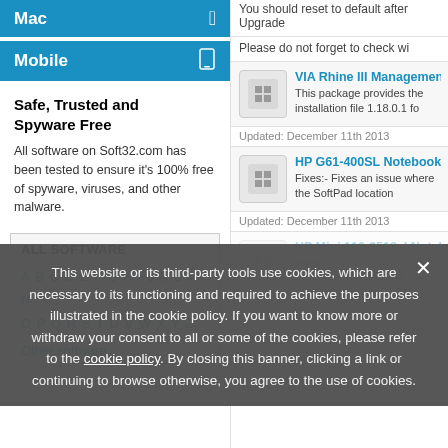Mac
Mobile
Safe, Trusted and Spyware Free
All software on Soft32.com has been tested to ensure it's 100% free of spyware, viruses, and other malware.
ALL SOFTWARE
A B C D E F G H I J K L M N O P Q R S T U V W X Y Z Other software
You should reset to default after Upgrade
Please do not forget to check wi
VIA Rhine III Management Adapt
This package provides the installation file 1.18.0.1 fo
Updated: December 11th 2013
HP G61-400SL Notebook Athero
Fixes:- Fixes an issue where the SoftPad location
Updated: December 11th 2013
HP Mini 110-3518cl Notebook Ra
Fixes:
- Fixes an issue where the Ralink 802.11
This website or its third-party tools use cookies, which are necessary to its functioning and required to achieve the purposes illustrated in the cookie policy. If you want to know more or withdraw your consent to all or some of the cookies, please refer to the cookie policy. By closing this banner, clicking a link or continuing to browse otherwise, you agree to the use of cookies.